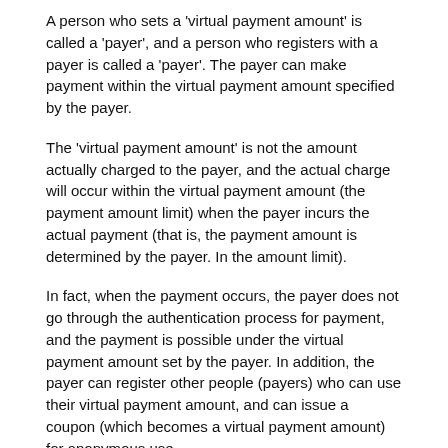A person who sets a 'virtual payment amount' is called a 'payer', and a person who registers with a payer is called a 'payer'. The payer can make payment within the virtual payment amount specified by the payer.
The 'virtual payment amount' is not the amount actually charged to the payer, and the actual charge will occur within the virtual payment amount (the payment amount limit) when the payer incurs the actual payment (that is, the payment amount is determined by the payer. In the amount limit).
In fact, when the payment occurs, the payer does not go through the authentication process for payment, and the payment is possible under the virtual payment amount set by the payer. In addition, the payer can register other people (payers) who can use their virtual payment amount, and can issue a coupon (which becomes a virtual payment amount) for anonymous use.
As shown in FIG. 1, the payment service system for a universal collection agent service according to the present invention includes a mobile phone identity authentication 61, a landline telephone authentication (eg, 060 ARS